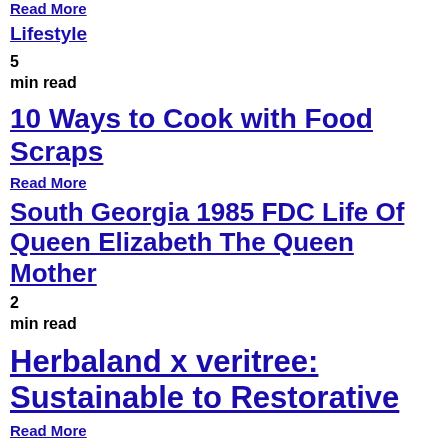Read More
Lifestyle
5
min read
10 Ways to Cook with Food Scraps
Read More
South Georgia 1985 FDC Life Of Queen Elizabeth The Queen Mother
2
min read
Herbaland x veritree: Sustainable to Restorative
Read More